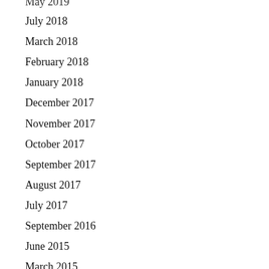May 2019
July 2018
March 2018
February 2018
January 2018
December 2017
November 2017
October 2017
September 2017
August 2017
July 2017
September 2016
June 2015
March 2015
December 2014